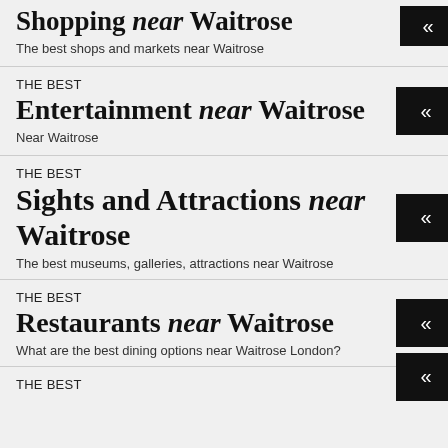Shopping near Waitrose
The best shops and markets near Waitrose
THE BEST
Entertainment near Waitrose
Near Waitrose
THE BEST
Sights and Attractions near Waitrose
The best museums, galleries, attractions near Waitrose
THE BEST
Restaurants near Waitrose
What are the best dining options near Waitrose London?
THE BEST